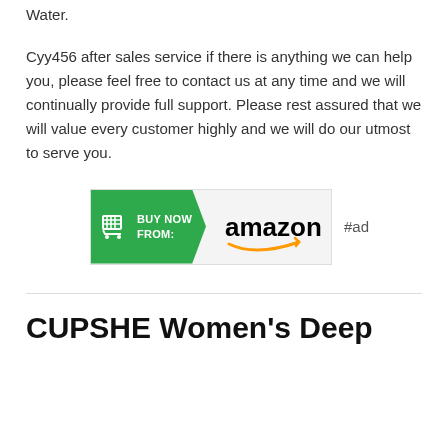Water.
Cyy456 after sales service if there is anything we can help you, please feel free to contact us at any time and we will continually provide full support. Please rest assured that we will value every customer highly and we will do our utmost to serve you.
[Figure (other): Buy Now from Amazon button badge with green arrow and Amazon logo, followed by #ad label]
CUPSHE Women's Deep